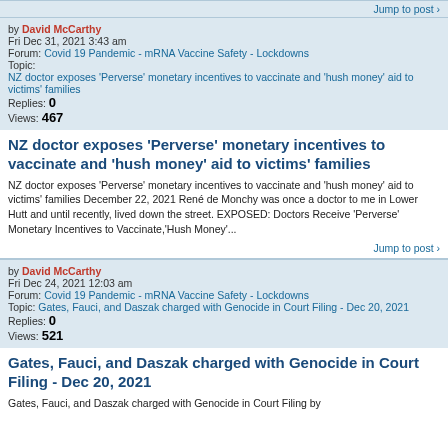Jump to post
by David McCarthy
Fri Dec 31, 2021 3:43 am
Forum: Covid 19 Pandemic - mRNA Vaccine Safety - Lockdowns
Topic: NZ doctor exposes 'Perverse' monetary incentives to vaccinate and 'hush money' aid to victims' families
Replies: 0
Views: 467
NZ doctor exposes 'Perverse' monetary incentives to vaccinate and 'hush money' aid to victims' families
NZ doctor exposes 'Perverse' monetary incentives to vaccinate and 'hush money' aid to victims' families December 22, 2021 René de Monchy was once a doctor to me in Lower Hutt and until recently, lived down the street. EXPOSED: Doctors Receive 'Perverse' Monetary Incentives to Vaccinate,'Hush Money'...
Jump to post
by David McCarthy
Fri Dec 24, 2021 12:03 am
Forum: Covid 19 Pandemic - mRNA Vaccine Safety - Lockdowns
Topic: Gates, Fauci, and Daszak charged with Genocide in Court Filing - Dec 20, 2021
Replies: 0
Views: 521
Gates, Fauci, and Daszak charged with Genocide in Court Filing - Dec 20, 2021
Gates, Fauci, and Daszak charged with Genocide in Court Filing by